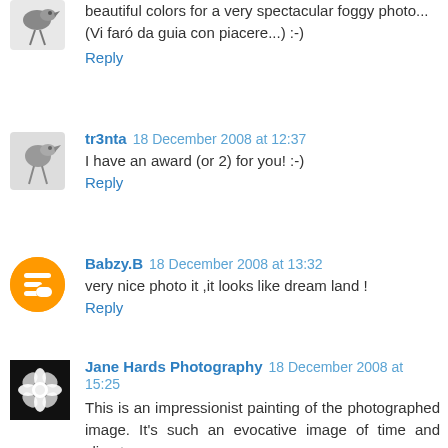beautiful colors for a very spectacular foggy photo... (Vi faró da guia con piacere...) :-)
Reply
tr3nta  18 December 2008 at 12:37
I have an award (or 2) for you! :-)
Reply
Babzy.B  18 December 2008 at 13:32
very nice photo it ,it looks like dream land !
Reply
Jane Hards Photography  18 December 2008 at 15:25
This is an impressionist painting of the photographed image. It's such an evocative image of time and climate.
Reply